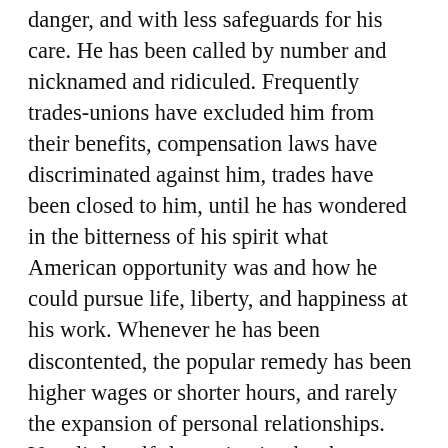danger, and with less safeguards for his care. He has been called by number and nicknamed and ridiculed. Frequently trades-unions have excluded him from their benefits, compensation laws have discriminated against him, trades have been closed to him, until he has wondered in the bitterness of his spirit what American opportunity was and how he could pursue life, liberty, and happiness at his work. Whenever he has been discontented, the popular remedy has been higher wages or shorter hours, and rarely the expansion of personal relationships. Very little self-determination has been given to him; on the contrary he has been made a cog in a highly organized industrial machine. His spirit has been imprisoned in the hum of machinery. His special gifts have been lost, even as his lack of skill in mechanical work has injured delicate processes and priceless materials. His pride has been